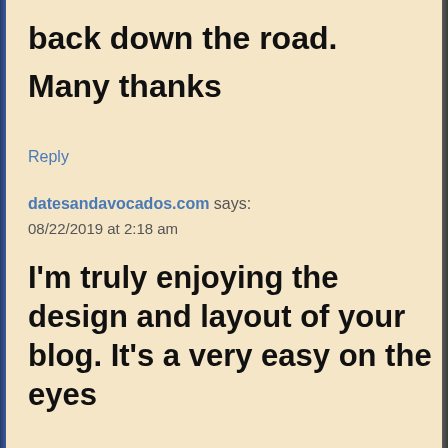back down the road.
Many thanks
Reply
datesandavocados.com says:
08/22/2019 at 2:18 am
I'm truly enjoying the design and layout of your blog. It's a very easy on the eyes